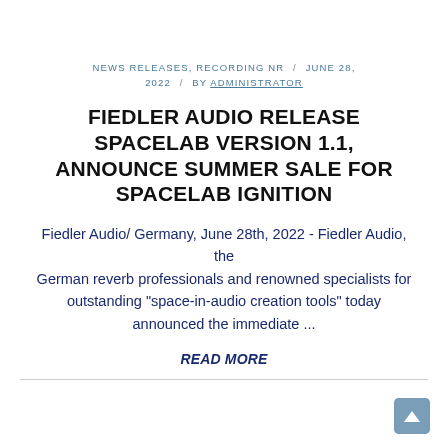NEWS RELEASES, RECORDING NR / JUNE 28, 2022 / BY ADMINISTRATOR
FIEDLER AUDIO RELEASE SPACELAB VERSION 1.1, ANNOUNCE SUMMER SALE FOR SPACELAB IGNITION
Fiedler Audio/ Germany, June 28th, 2022 - Fiedler Audio, the German reverb professionals and renowned specialists for outstanding "space-in-audio creation tools" today announced the immediate ...
READ MORE